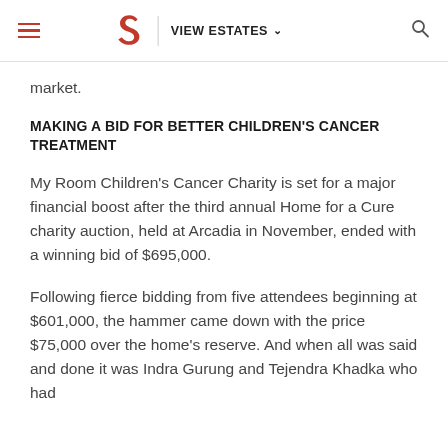VIEW ESTATES
market.
MAKING A BID FOR BETTER CHILDREN'S CANCER TREATMENT
My Room Children's Cancer Charity is set for a major financial boost after the third annual Home for a Cure charity auction, held at Arcadia in November, ended with a winning bid of $695,000.
Following fierce bidding from five attendees beginning at $601,000, the hammer came down with the price $75,000 over the home's reserve. And when all was said and done it was Indra Gurung and Tejendra Khadka who had